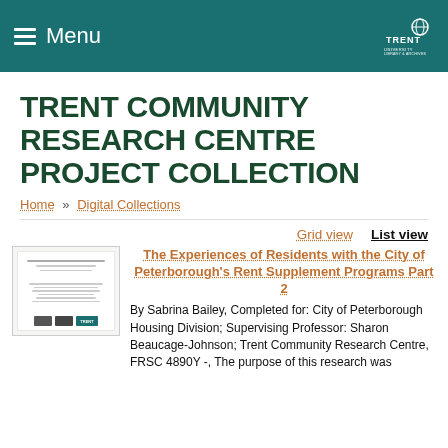Menu | Trent University Library & Archives
TRENT COMMUNITY RESEARCH CENTRE PROJECT COLLECTION
Home » Digital Collections
Grid view   List view
[Figure (other): Thumbnail image of document cover page with logos at bottom including Trent University]
The Experiences of Residents with the City of Peterborough's Rent Supplement Programs Part 2
By Sabrina Bailey, Completed for: City of Peterborough Housing Division; Supervising Professor: Sharon Beaucage-Johnson; Trent Community Research Centre, FRSC 4890Y -, The purpose of this research was